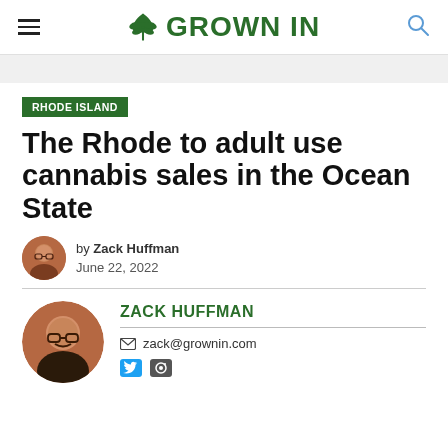GROWN IN
RHODE ISLAND
The Rhode to adult use cannabis sales in the Ocean State
by Zack Huffman
June 22, 2022
ZACK HUFFMAN
zack@grownin.com